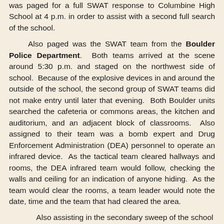was paged for a full SWAT response to Columbine High School at 4 p.m. in order to assist with a second full search of the school.
Also paged was the SWAT team from the Boulder Police Department. Both teams arrived at the scene around 5:30 p.m. and staged on the northwest side of school. Because of the explosive devices in and around the outside of the school, the second group of SWAT teams did not make entry until later that evening. Both Boulder units searched the cafeteria or commons areas, the kitchen and auditorium, and an adjacent block of classrooms. Also assigned to their team was a bomb expert and Drug Enforcement Administration (DEA) personnel to operate an infrared device. As the tactical team cleared hallways and rooms, the DEA infrared team would follow, checking the walls and ceiling for an indication of anyone hiding. As the team would clear the rooms, a team leader would note the date, time and the team that had cleared the area.
Also assisting in the secondary sweep of the school